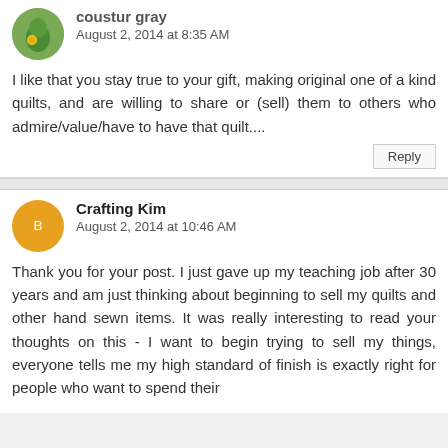coustur gray
August 2, 2014 at 8:35 AM
I like that you stay true to your gift, making original one of a kind quilts, and are willing to share or (sell) them to others who admire/value/have to have that quilt....
Reply
Crafting Kim
August 2, 2014 at 10:46 AM
Thank you for your post. I just gave up my teaching job after 30 years and am just thinking about beginning to sell my quilts and other hand sewn items. It was really interesting to read your thoughts on this - I want to begin trying to sell my things, everyone tells me my high standard of finish is exactly right for people who want to spend their